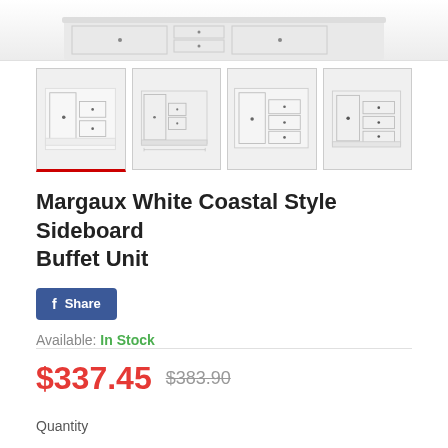[Figure (photo): Top portion of a white coastal style sideboard buffet unit, partially cropped at the top of the page]
[Figure (photo): Four thumbnail images of the Margaux White Coastal Style Sideboard Buffet Unit from different angles. First thumbnail is selected (red underline border). Images show front view, side view with dimensions, front-center view, and angled view.]
Margaux White Coastal Style Sideboard Buffet Unit
Share (Facebook)
Available: In Stock
$337.45  $383.90
Quantity